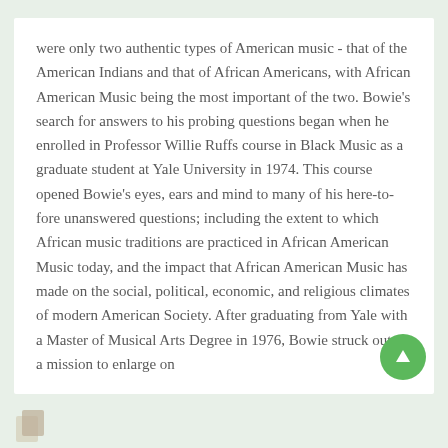were only two authentic types of American music - that of the American Indians and that of African Americans, with African American Music being the most important of the two. Bowie's search for answers to his probing questions began when he enrolled in Professor Willie Ruffs course in Black Music as a graduate student at Yale University in 1974. This course opened Bowie's eyes, ears and mind to many of his here-to-fore unanswered questions; including the extent to which African music traditions are practiced in African American Music today, and the impact that African American Music has made on the social, political, economic, and religious climates of modern American Society. After graduating from Yale with a Master of Musical Arts Degree in 1976, Bowie struck out on a mission to enlarge on